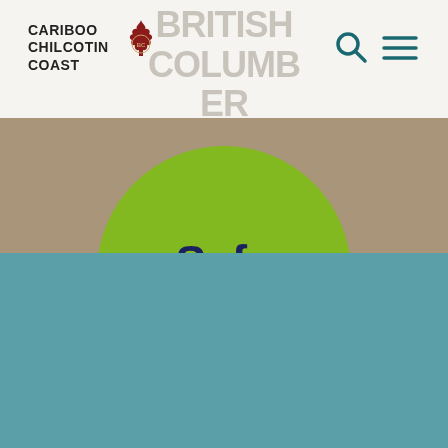[Figure (logo): Cariboo Chilcotin Coast tourism logo with maple leaf and BC text]
[Figure (illustration): Hero section with tan/khaki background and large green circle containing 'Safe travels' text in dark navy bold font]
Cariboo Chilcotin Coast Tourism uses "cookies" to enhance the usability of its websites and provide you with a more personal experience. By using this website, you agree to our use of cookies as explained in our Privacy Policy
I UNDERSTAND